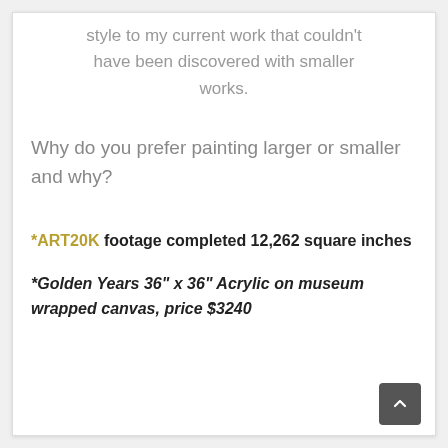style to my current work that couldn't have been discovered with smaller works.
Why do you prefer painting larger or smaller and why?
*ART20K footage completed 12,262 square inches
*Golden Years 36" x 36" Acrylic on museum wrapped canvas, price $3240